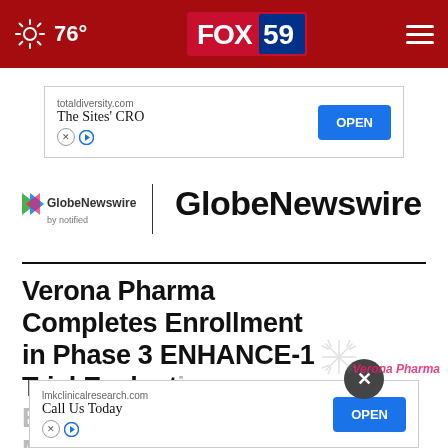76° FOX 59
[Figure (screenshot): Advertisement banner: totaldiversity.com – The Sites' CRO – OPEN button]
[Figure (logo): GlobeNewswire by notified logo with arrow icon]
GlobeNewswire
Verona Pharma Completes Enrollment in Phase 3 ENHANCE-1 Trial Evaluating Ensifentrine as Maintenance
[Figure (screenshot): Advertisement overlay: lmkclinicalresearch.com – Call Us Today – OPEN button with close X circle]